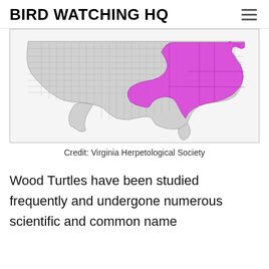BIRD WATCHING HQ
[Figure (map): Map of the United States showing the range of Wood Turtles highlighted in magenta/pink in the northeastern states region, with the rest of the country shown in light gray with county/state boundaries.]
Credit: Virginia Herpetological Society
Wood Turtles have been studied frequently and undergone numerous scientific and common name